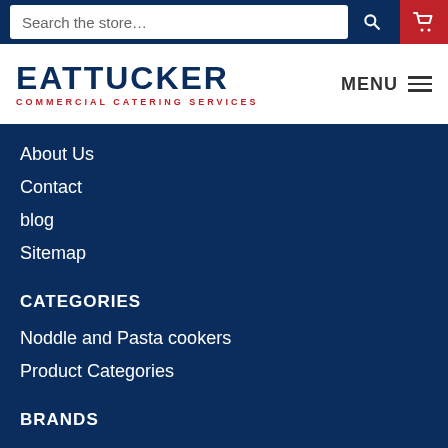[Figure (screenshot): Top navigation bar with search input field, search button, and red cart button]
[Figure (logo): EatTucker Commercial Catering Services logo in dark navy and red, with MENU hamburger on right]
About Us
Contact
blog
Sitemap
CATEGORIES
Noddle and Pasta cookers
Product Categories
BRANDS
Blue Seal
Turbofan
Waldorf
Cobra